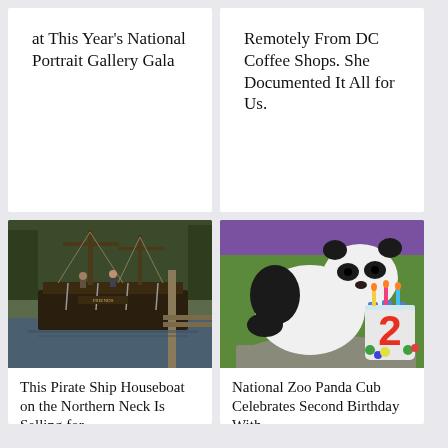at This Year's National Portrait Gallery Gala
Remotely From DC Coffee Shops. She Documented It All for Us.
[Figure (photo): A pirate ship houseboat docked at a pier, decorated with rigging and chains, surrounded by trees and water.]
This Pirate Ship Houseboat on the Northern Neck Is Selling for
[Figure (photo): A giant panda cub leaning over a colorful birthday cake decorated with a large number 2, on a rocky surface with green grass in background.]
National Zoo Panda Cub Celebrates Second Birthday With